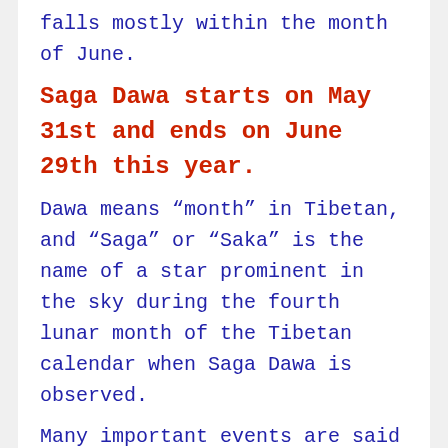falls mostly within the month of June.
Saga Dawa starts on May 31st and ends on June 29th this year.
Dawa means “month” in Tibetan, and “Saga” or “Saka” is the name of a star prominent in the sky during the fourth lunar month of the Tibetan calendar when Saga Dawa is observed.
Many important events are said to have happened during this month including the birth of the Buddha, the Buddha’s Enlightenment, and the Buddha’s death.
Because these great events are said to have happened during this month, Buddhists throughout the world